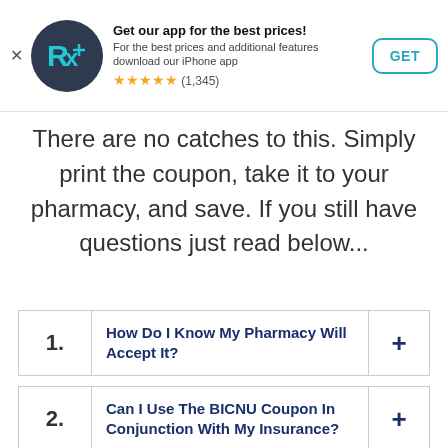[Figure (screenshot): App download banner with RxSaver logo, title 'Get our app for the best prices!', description text, star rating (1,345 reviews), and GET button]
There are no catches to this. Simply print the coupon, take it to your pharmacy, and save. If you still have questions just read below...
1. How Do I Know My Pharmacy Will Accept It?
2. Can I Use The BICNU Coupon In Conjunction With My Insurance?
3. How Much Will This Coupon Save Me?